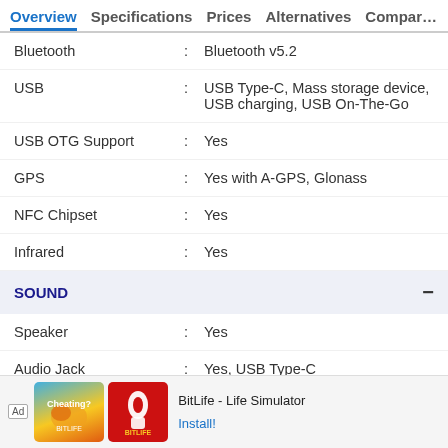Overview  Specifications  Prices  Alternatives  Compar…
| Specification |  | Value |
| --- | --- | --- |
| Bluetooth | : | Bluetooth v5.2 |
| USB | : | USB Type-C, Mass storage device, USB charging, USB On-The-Go |
| USB OTG Support | : | Yes |
| GPS | : | Yes with A-GPS, Glonass |
| NFC Chipset | : | Yes |
| Infrared | : | Yes |
SOUND
| Specification |  | Value |
| --- | --- | --- |
| Speaker | : | Yes |
| Audio Jack | : | Yes, USB Type-C |
| Video Player | : | Yes, Video Formats: 3GP, AVI, MP4 |
[Figure (infographic): Advertisement banner for BitLife - Life Simulator app with Ad label, illustrated logo images, app name, and Install button]